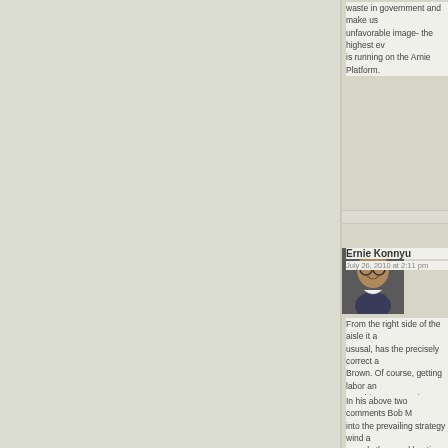waste in government and make us unfavorable image- the highest ev is running on the Arnie Platform.
[Figure (photo): Headshot photo of Ernie Konnyu, a man wearing glasses and smiling, against a dark background]
Ernie Konnyu
July 26, 2010 at 2:11 pm
From the right side of the aisle it a ususal, has the precisely correct a Brown. Of course, getting labor an matching amounts in June, July a wholly different matter.
In his above two comments Bob M into the prevailing strategy wind a namely the usual beatings on Rep
Keep it up Bob as long as you car I suspect we'll see her Majesty, a the crown on her own head in Nov